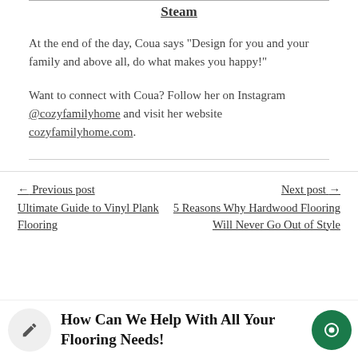Steam
At the end of the day, Coua says “Design for you and your family and above all, do what makes you happy!”
Want to connect with Coua? Follow her on Instagram @cozyfamilyhome and visit her website cozyfamilyhome.com.
← Previous post
Ultimate Guide to Vinyl Plank Flooring
Next post →
5 Reasons Why Hardwood Flooring Will Never Go Out of Style
How Can We Help With All Your Flooring Needs!